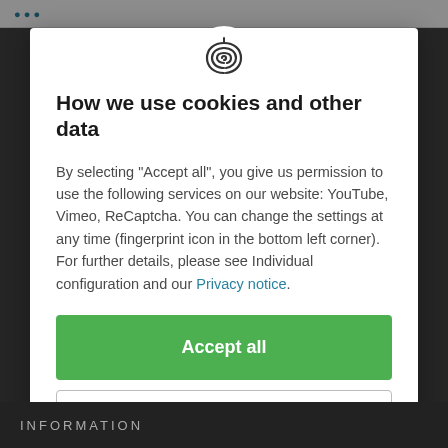bullet text (partially visible)
[Figure (illustration): Fingerprint/privacy icon - concentric arc lines forming a fingerprint symbol in dark grey]
How we use cookies and other data
By selecting "Accept all", you give us permission to use the following services on our website: YouTube, Vimeo, ReCaptcha. You can change the settings at any time (fingerprint icon in the bottom left corner). For further details, please see Individual configuration and our Privacy notice.
Accept all
Close
Configuration
INFORMATION